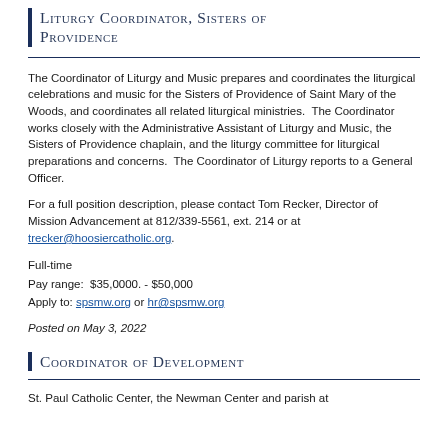Liturgy Coordinator, Sisters of Providence
The Coordinator of Liturgy and Music prepares and coordinates the liturgical celebrations and music for the Sisters of Providence of Saint Mary of the Woods, and coordinates all related liturgical ministries.  The Coordinator works closely with the Administrative Assistant of Liturgy and Music, the Sisters of Providence chaplain, and the liturgy committee for liturgical preparations and concerns.  The Coordinator of Liturgy reports to a General Officer.
For a full position description, please contact Tom Recker, Director of Mission Advancement at 812/339-5561, ext. 214 or at trecker@hoosiercatholic.org.
Full-time
Pay range:  $35,0000. - $50,000
Apply to: spsmw.org or hr@spsmw.org
Posted on May 3, 2022
Coordinator of Development
St. Paul Catholic Center, the Newman Center and parish at